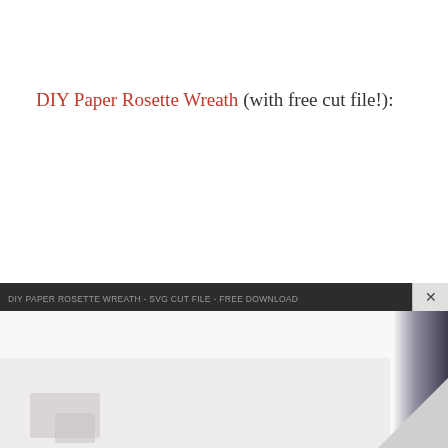DIY Paper Rosette Wreath (with free cut file!):
[Figure (photo): Partial view of a DIY paper rosette wreath craft project photo at the bottom of the page, with an advertisement bar overlay containing a close (X) button, showing white paper rosettes and dark background elements]